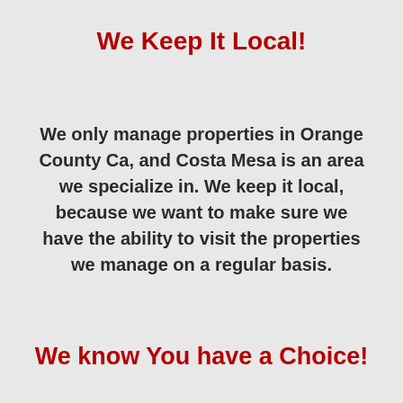We Keep It Local!
We only manage properties in Orange County Ca, and Costa Mesa is an area we specialize in. We keep it local, because we want to make sure we have the ability to visit the properties we manage on a regular basis.
We know You have a Choice!